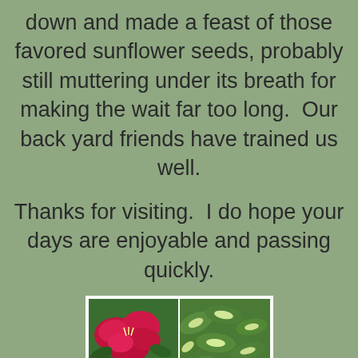down and made a feast of those favored sunflower seeds, probably still muttering under its breath for making the wait far too long.  Our back yard friends have trained us well.
Thanks for visiting.  I do hope your days are enjoyable and passing quickly.
[Figure (photo): A 2x2 grid of garden photos: top-left shows pink/red flowers (azaleas) with green leaves, top-right shows green variegated shrub foliage, bottom-left shows yellow-green dense foliage, bottom-right shows white cluster flowers (yarrow or similar) with dark green background. Below the grid is the name DENISE in large pink bold letters.]